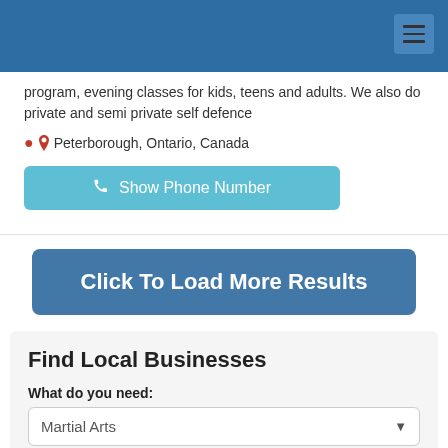program, evening classes for kids, teens and adults. We also do private and semi private self defence
Peterborough, Ontario, Canada
Show Phone Number
Click To Load More Results
Find Local Businesses
What do you need:
Martial Arts
Specializing in:
All Categories